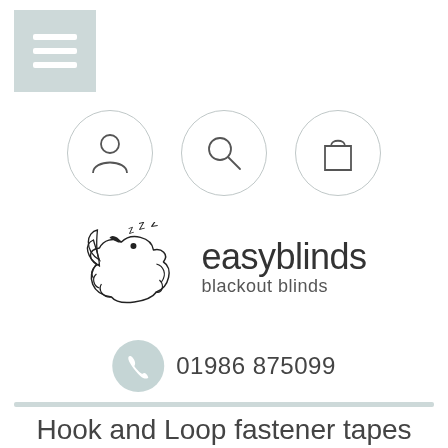[Figure (logo): Hamburger menu icon — light teal square with three white horizontal lines]
[Figure (infographic): Three circular icon buttons: user/person icon, search magnifying glass icon, shopping bag icon]
[Figure (logo): Easyblinds blackout blinds logo — rooster illustration with zzz sleep symbols on left, text 'easyblinds blackout blinds' on right]
01986 875099
Hook and Loop fastener tapes